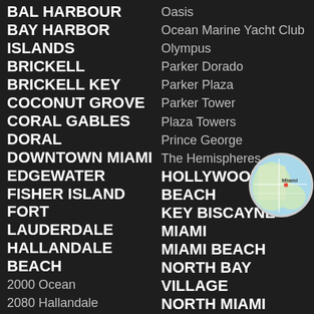BAL HARBOUR
BAY HARBOR ISLANDS
BRICKELL
BRICKELL KEY
COCONUT GROVE
CORAL GABLES
DORAL
DOWNTOWN MIAMI
EDGEWATER
FISHER ISLAND
FORT LAUDERDALE
HALLANDALE BEACH
2000 Ocean
2080 Hallandale
Anchor Bay
Avant Garde
Oasis
Ocean Marine Yacht Club
Olympus
Parker Dorado
Parker Plaza
Parker Tower
Plaza Towers
Prince George
The Hemispheres
HOLLYWOOD BEACH
KEY BISCAYNE
MIAMI
MIAMI BEACH
NORTH BAY VILLAGE
NORTH MIAMI
NORTH MIAMI BEACH
SOUTH BEACH
[Figure (map): Circular map thumbnail showing Miami area]